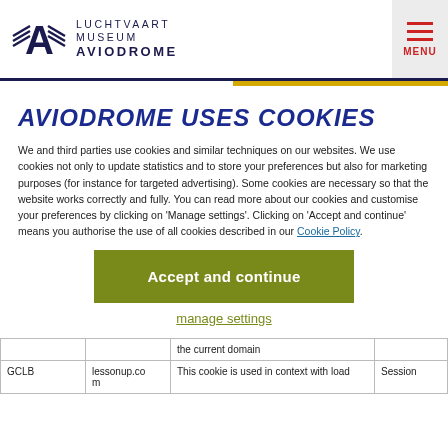LUCHTVAART MUSEUM AVIODROME — MENU
AVIODROME USES COOKIES
We and third parties use cookies and similar techniques on our websites. We use cookies not only to update statistics and to store your preferences but also for marketing purposes (for instance for targeted advertising). Some cookies are necessary so that the website works correctly and fully. You can read more about our cookies and customise your preferences by clicking on 'Manage settings'. Clicking on 'Accept and continue' means you authorise the use of all cookies described in our Cookie Policy.
Accept and continue
manage settings
|  |  |  |  |
| --- | --- | --- | --- |
|  |  | the current domain |  |
| GCLB | lessonup.co m | This cookie is used in context with load | Session |